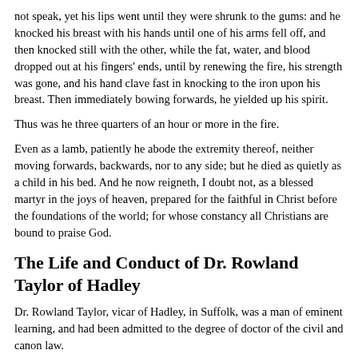not speak, yet his lips went until they were shrunk to the gums: and he knocked his breast with his hands until one of his arms fell off, and then knocked still with the other, while the fat, water, and blood dropped out at his fingers' ends, until by renewing the fire, his strength was gone, and his hand clave fast in knocking to the iron upon his breast. Then immediately bowing forwards, he yielded up his spirit.
Thus was he three quarters of an hour or more in the fire.
Even as a lamb, patiently he abode the extremity thereof, neither moving forwards, backwards, nor to any side; but he died as quietly as a child in his bed. And he now reigneth, I doubt not, as a blessed martyr in the joys of heaven, prepared for the faithful in Christ before the foundations of the world; for whose constancy all Christians are bound to praise God.
The Life and Conduct of Dr. Rowland Taylor of Hadley
Dr. Rowland Taylor, vicar of Hadley, in Suffolk, was a man of eminent learning, and had been admitted to the degree of doctor of the civil and canon law.
His attachment to the pure and uncorrupted principles of